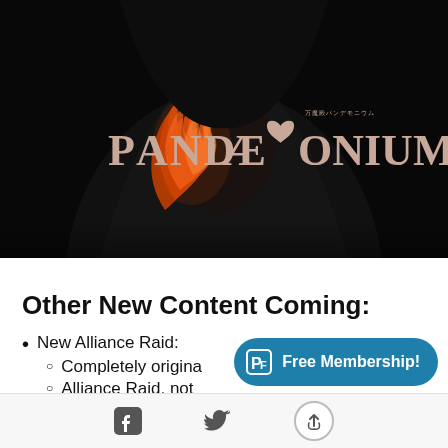[Figure (illustration): Dark fantasy game promotional image for PANDAEMONIUM showing a hooded figure with flames covering one eye, set against a dark background. The stylized logo reads PANDAEMONIUM in large stone-textured letters with Japanese subtitle text above.]
Other New Content Coming:
New Alliance Raid:
Completely origina[l]
Alliance Raid, not...